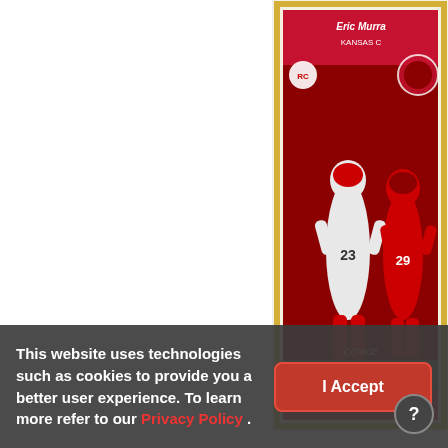[Figure (photo): Trading card product image - 2016 Donruss Optic Eric Murray rookie card with red and yellow border, showing football players in Kansas City Chiefs uniforms]
2016 Donruss Optic - and Yellow #116 RC
Rookies - Eric Murr
$0.83
[Figure (photo): Partial view of another trading card at the bottom right]
This website uses technologies such as cookies to provide you a better user experience. To learn more refer to our Privacy Policy .
I Accept